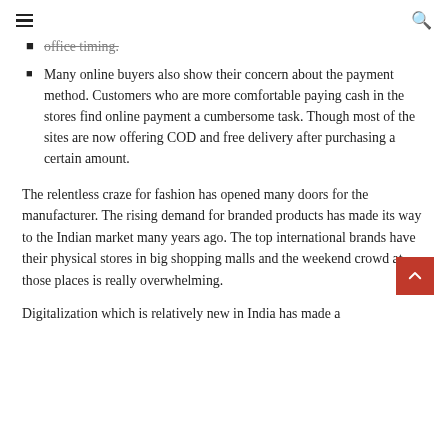[hamburger menu] [search icon]
office timing.
Many online buyers also show their concern about the payment method. Customers who are more comfortable paying cash in the stores find online payment a cumbersome task. Though most of the sites are now offering COD and free delivery after purchasing a certain amount.
The relentless craze for fashion has opened many doors for the manufacturer. The rising demand for branded products has made its way to the Indian market many years ago. The top international brands have their physical stores in big shopping malls and the weekend crowd at those places is really overwhelming.
Digitalization which is relatively new in India has made a